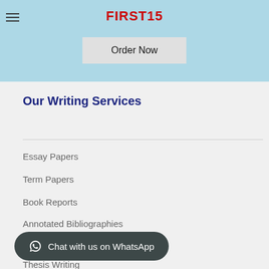FIRST15
Order Now
Our Writing Services
Essay Papers
Term Papers
Book Reports
Annotated Bibliographies
Application Essays
Thesis Writing
Chat with us on WhatsApp